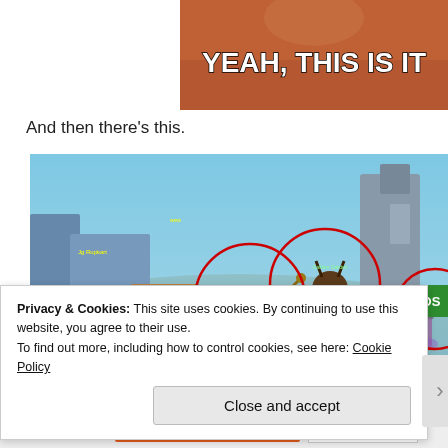[Figure (screenshot): Cropped image with brown/orange background and bold white text reading YEAH, THIS IS IT]
And then there's this.
[Figure (screenshot): Screenshot of a video game (appears to be World of Warcraft or similar MMORPG) showing multiple characters in a blue-toned environment with several red circles drawn around various characters/creatures]
Privacy & Cookies: This site uses cookies. By continuing to use this website, you agree to their use.
To find out more, including how to control cookies, see here: Cookie Policy
Close and accept